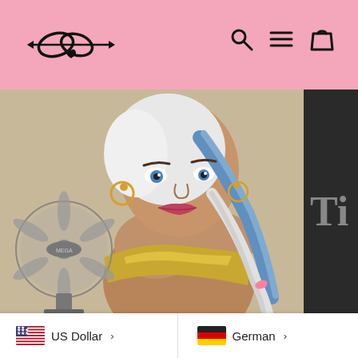Navigation header with logo and icons
[Figure (photo): Product photo of a realistic doll with white/silver braided hair, blue eyes, wearing a gold bandeau top, posed in front of a fan in an indoor setting]
US Dollar
German